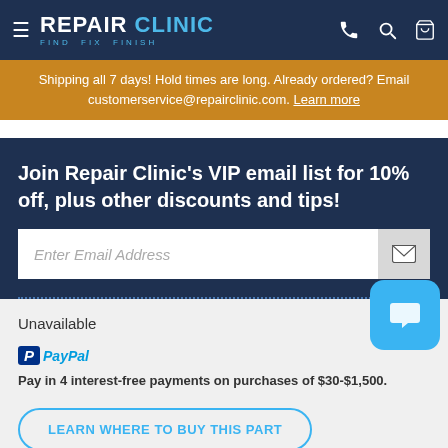REPAIR CLINIC — FIND. FIX. FINISH.
Shipping all 7 days! Hold times are long. Already ordered? Email customerservice@repairclinic.com. Learn more
Join Repair Clinic's VIP email list for 10% off, plus other discounts and tips!
Enter Email Address
Unavailable
Pay in 4 interest-free payments on purchases of $30-$1,500.
LEARN WHERE TO BUY THIS PART